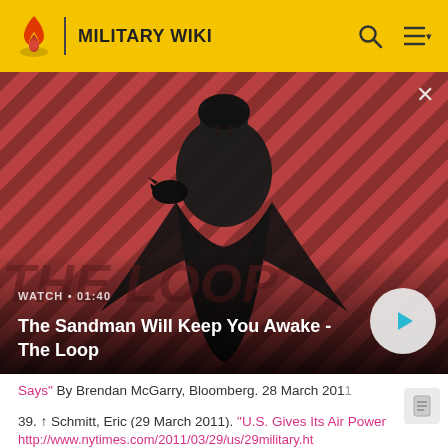MILITARY WIKI
[Figure (screenshot): Video thumbnail for 'The Sandman Will Keep You Awake - The Loop' with a dark-clad figure against a red striped background. Shows WATCH • 01:40 label and a play button.]
WATCH • 01:40
The Sandman Will Keep You Awake - The Loop
Says" By Brendan McGarry, Bloomberg. 28 March 2011
39. ↑ Schmitt, Eric (29 March 2011). "U.S. Gives Its Air Power Expansive Role in Libya". New York Times. p. A13.
http://www.nytimes.com/2011/03/29/us/29military.ht